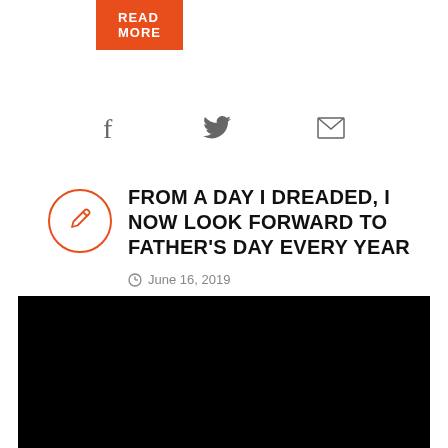READ MORE
[Figure (infographic): Social share icons: Facebook (f), Twitter (bird), Email (envelope)]
FROM A DAY I DREADED, I NOW LOOK FORWARD TO FATHER'S DAY EVERY YEAR
June 16, 2019
[Figure (photo): Black image / video placeholder]